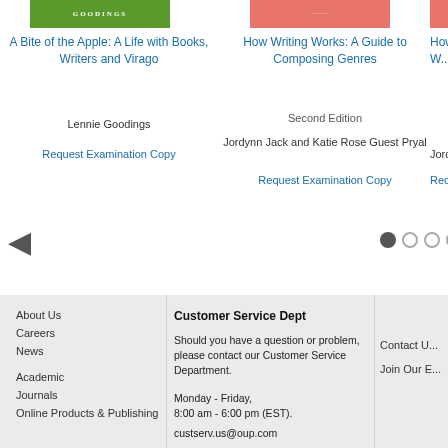[Figure (illustration): Book cover for A Bite of the Apple with green background and GOODINGS text]
A Bite of the Apple: A Life with Books, Writers and Virago
Lennie Goodings
Request Examination Copy
[Figure (illustration): Book cover for How Writing Works with salmon/coral background]
How Writing Works: A Guide to Composing Genres
Second Edition
Jordynn Jack and Katie Rose Guest Pryal
Request Examination Copy
[Figure (illustration): Partial book cover for How Writing Works second column, salmon background]
How W... to Com...
Jordynn...
Reque...
About Us
Careers
News
Academic
Journals
Online Products & Publishing
Customer Service Dept
Should you have a question or problem, please contact our Customer Service Department.
Monday - Friday,
8:00 am - 6:00 pm (EST).
custserv.us@oup.com
Contact U...
Join Our E...